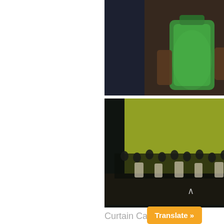[Figure (photo): Four theatrical performance photos arranged in a 2x2 grid. Top-left: a performer in dark clothing holding a glowing light on a dark stage. Top-right: close-up of hands holding a green glowing object. Bottom-left: a large ensemble cast on a stage with a yellow-green backdrop. Bottom-right: a performer with arm extended, surrounded by other cast members in dark costumes.]
Curtain Call
[Figure (screenshot): A tweet from @valen_vino with Japanese/Chinese characters as username, containing emoji hearts and text. It includes a quoted tweet from Jordi Maddaleno @JordiMadd reading: 'Estreno #LesContesdHoffmann #Offenbach @Liceu_cat Bravi x la batuta viva y teatral de @riccardofrizza & cast destaca elegantes @marinaymezzo y' (truncated). Navigation arrows and a Translate button are visible.]